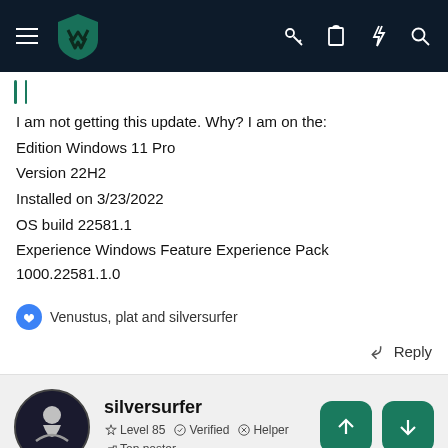Navigation bar with logo and icons
I am not getting this update. Why? I am on the:
Edition Windows 11 Pro
Version 22H2
Installed on 3/23/2022
OS build 22581.1
Experience Windows Feature Experience Pack 1000.22581.1.0
Venustus, plat and silversurfer
Reply
silversurfer
Level 85  Verified  Helper  Top poster